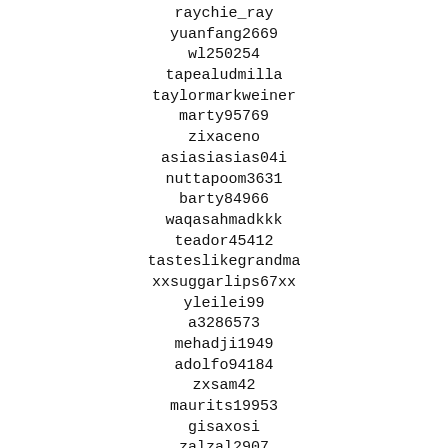raychie_ray
yuanfang2669
wl250254
tapealudmilla
taylormarkweiner
marty95769
zixaceno
asiasiasias04i
nuttapoom3631
barty84966
waqasahmadkkk
teador45412
tasteslikegrandma
xxsuggarlips67xx
yleilei99
a3286573
mehadji1949
adolfo94184
zxsam42
maurits19953
gisaxosi
zalzal2907
zyuz123
tuxczz05nw5vbhqe
walshman187
ria2511
wait4310
texasbonnet
kovsh81
sherman2507